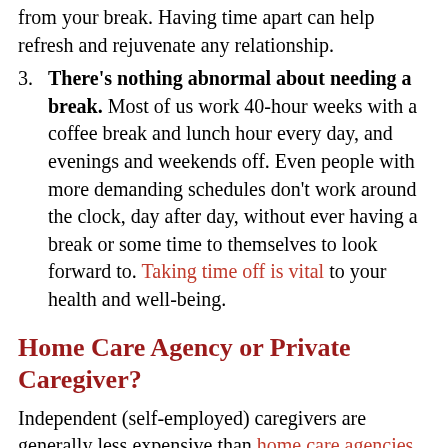from your break. Having time apart can help refresh and rejuvenate any relationship.
3. There's nothing abnormal about needing a break. Most of us work 40-hour weeks with a coffee break and lunch hour every day, and evenings and weekends off. Even people with more demanding schedules don't work around the clock, day after day, without ever having a break or some time to themselves to look forward to. Taking time off is vital to your health and well-being.
Home Care Agency or Private Caregiver?
Independent (self-employed) caregivers are generally less expensive than home care agencies,